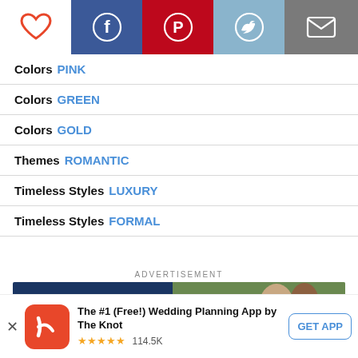[Figure (screenshot): Top navigation bar with heart/favorite icon (white background), Facebook icon (blue), Pinterest icon (red), Twitter icon (light blue), Email/mail icon (gray)]
Colors  PINK
Colors  GREEN
Colors  GOLD
Themes  ROMANTIC
Timeless Styles  LUXURY
Timeless Styles  FORMAL
ADVERTISEMENT
[Figure (screenshot): Advertisement banner showing 'FREE GROOM' text on dark blue background on left, and a photo of a couple outdoors on right]
The #1 (Free!) Wedding Planning App by The Knot  ★★★★★ 114.5K  GET APP